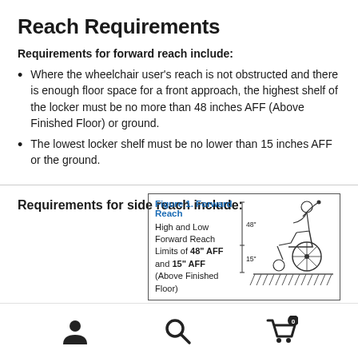Reach Requirements
Requirements for forward reach include:
Where the wheelchair user's reach is not obstructed and there is enough floor space for a front approach, the highest shelf of the locker must be no more than 48 inches AFF (Above Finished Floor) or ground.
The lowest locker shelf must be no lower than 15 inches AFF or the ground.
Requirements for side reach include:
[Figure (engineering-diagram): Figure 1. Forward Reach — diagram showing a wheelchair user reaching forward toward a locker. Text reads: High and Low Forward Reach Limits of 48" AFF and 15" AFF (Above Finished Floor). Dimension lines show 48" and 15" heights.]
Navigation icons: user/account, search, cart (0)